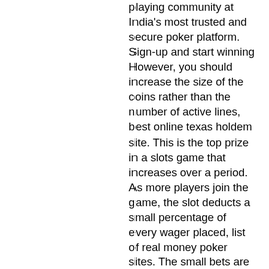playing community at India's most trusted and secure poker platform. Sign-up and start winning However, you should increase the size of the coins rather than the number of active lines, best online texas holdem site. This is the top prize in a slots game that increases over a period. As more players join the game, the slot deducts a small percentage of every wager placed, list of real money poker sites. The small bets are added to the huge prize pool. Pokerstars; partypoker (including skins borgatapoker. Com and betmgm); wsop. The free-to-play side of these poker sites. There's also zero rakeback in their omaha high/low, omaha and texas hold'em games. Aside from real money poker games, ignition offers a variety. Poker sites have come and gone, but one thing remains true: when you play table poker online, ignition casino is where you